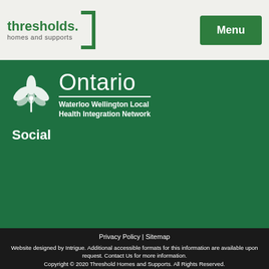thresholds. homes and supports | Menu
[Figure (logo): Ontario Waterloo Wellington Local Health Integration Network logo with trillium flower on green background]
Social
Privacy Policy | Sitemap
Website designed by Intrigue. Additional accessible formats for this information are available upon request. Contact Us for more information.
Copyright © 2020 Threshold Homes and Supports. All Rights Reserved.